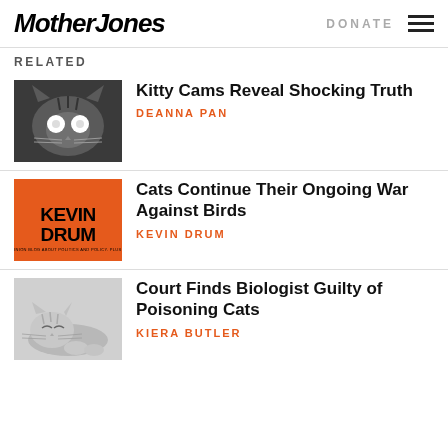Mother Jones | DONATE
RELATED
[Figure (photo): Black and white photo of a cat with glowing eyes looking at camera]
Kitty Cams Reveal Shocking Truth
DEANNA PAN
[Figure (illustration): Orange background with text KEVIN DRUM in black bold letters]
Cats Continue Their Ongoing War Against Birds
KEVIN DRUM
[Figure (photo): Black and white photo of a sleeping kitten]
Court Finds Biologist Guilty of Poisoning Cats
KIERA BUTLER